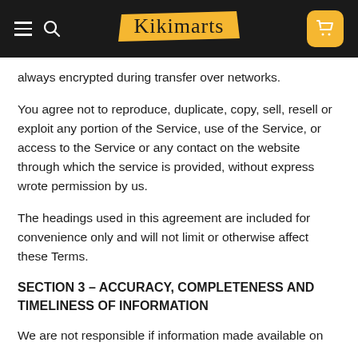Kikimarts
always encrypted during transfer over networks.
You agree not to reproduce, duplicate, copy, sell, resell or exploit any portion of the Service, use of the Service, or access to the Service or any contact on the website through which the service is provided, without express wrote permission by us.
The headings used in this agreement are included for convenience only and will not limit or otherwise affect these Terms.
SECTION 3 – ACCURACY, COMPLETENESS AND TIMELINESS OF INFORMATION
We are not responsible if information made available on